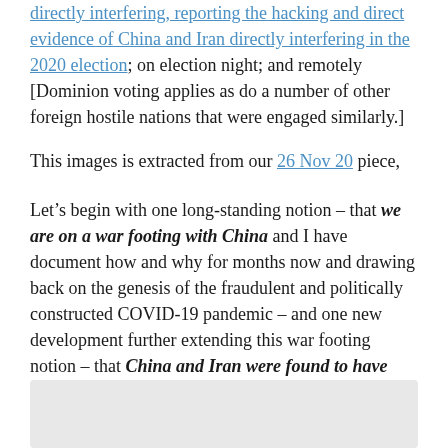directly interfering, reporting the hacking and direct evidence of China and Iran directly interfering in the 2020 election; on election night; and remotely [Dominion voting applies as do a number of other foreign hostile nations that were engaged similarly.]
This images is extracted from our 26 Nov 20 piece,
Let's begin with one long-standing notion – that we are on a war footing with China and I have document how and why for months now and drawing back on the genesis of the fraudulent and politically constructed COVID-19 pandemic – and one new development further extending this war footing notion – that China and Iran were found to have directly interfered in the 2020 presidential election.
[Figure (other): Gray box at bottom of page, partial image or placeholder]